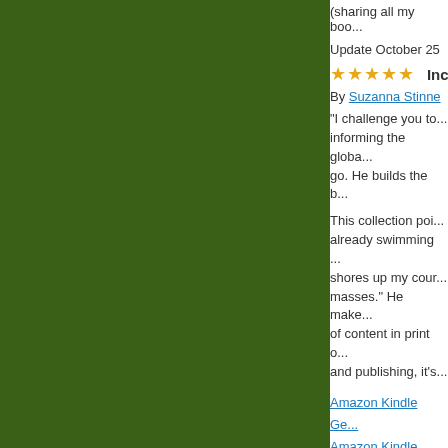[Figure (photo): Green background panel on the left side of the page]
(sharing all my boo...
Update October 25
★★★★★  Increas...
By Suzanna Stinne...
"I challenge you to... informing the globa... go. He builds the b...
This collection poi... already swimming ... shores up my cour... masses." He make... of content in print o... and publishing, it's...
Amazon Kindle Ge...
Amazon Kindle Fre...
Amazon Kindle UK...
ABOUT "THE FUT...